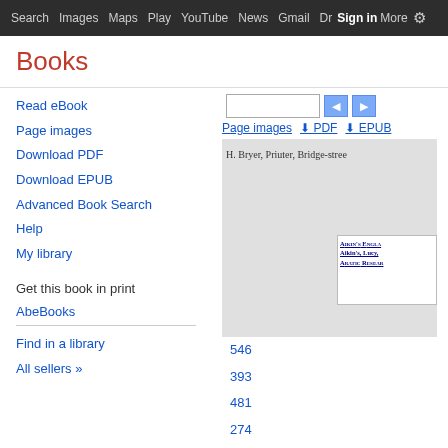Search  Images  Maps  Play  YouTube  News  Gmail  Drive  More  Sign in  Settings
Books
Read eBook
Page images
Download PDF
Download EPUB
Advanced Book Search
Help
My library
Get this book in print
AbeBooks
Find in a library
All sellers »
[Figure (screenshot): Google Books page viewer showing a scanned book page with text 'H. Bryer, Priuter, Bridge-stree' and a thumbnail overlay showing Aikin's England, Aikin's Lucy, Aratic Research entries. Page numbers 546, 393, 481, 274, 127, 537 shown in blue.]